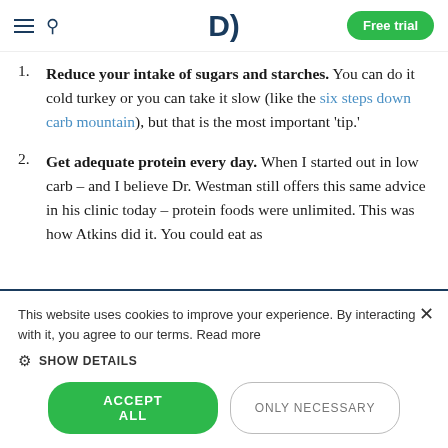D | Free trial
1. Reduce your intake of sugars and starches. You can do it cold turkey or you can take it slow (like the six steps down carb mountain), but that is the most important 'tip.'
2. Get adequate protein every day. When I started out in low carb – and I believe Dr. Westman still offers this same advice in his clinic today – protein foods were unlimited. This was how Atkins did it. You could eat as
This website uses cookies to improve your experience. By interacting with it, you agree to our terms. Read more
SHOW DETAILS
ACCEPT ALL | ONLY NECESSARY